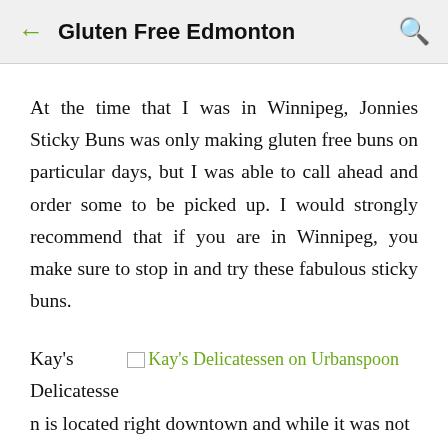Gluten Free Edmonton
At the time that I was in Winnipeg, Jonnies Sticky Buns was only making gluten free buns on particular days, but I was able to call ahead and order some to be picked up. I would strongly recommend that if you are in Winnipeg, you make sure to stop in and try these fabulous sticky buns.
Kay's Delicatessen is located right downtown and while it was not in an area that is heavily populated with other
[Figure (screenshot): Broken image placeholder linking to Kay's Delicatessen on Urbanspoon with green link text]